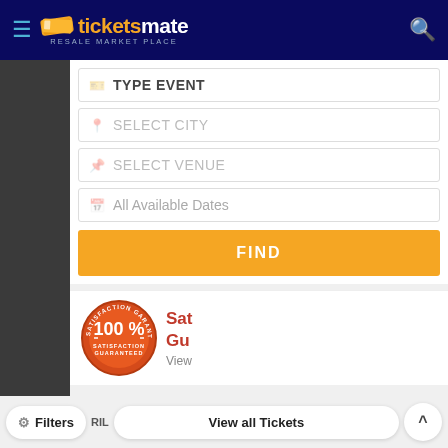[Figure (screenshot): TicketsMate resale marketplace app screenshot showing header with logo, hamburger menu, search icon, search form with TYPE EVENT, SELECT CITY, SELECT VENUE, All Available Dates fields, FIND button, satisfaction guarantee badge, and bottom navigation bar with Filters and View all Tickets buttons]
TYPE EVENT
SELECT CITY
SELECT VENUE
All Available Dates
FIND
Satisfaction Guaranteed
View
Filters
View all Tickets